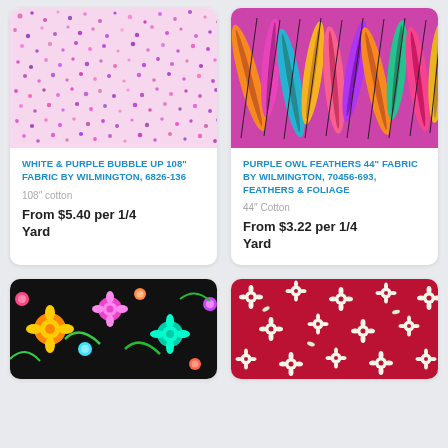[Figure (photo): White and purple bubble/dot pattern fabric swatch on pink/white background]
WHITE & PURPLE BUBBLE UP 108" FABRIC BY WILMINGTON, 6826-136
108" cotton
From $5.40 per 1/4 Yard
[Figure (photo): Purple owl feathers fabric swatch with colorful feathers in pink, orange, teal, yellow]
PURPLE OWL FEATHERS 44" FABRIC BY WILMINGTON, 70456-693, FEATHERS & FOLIAGE
44" Cotton
From $3.22 per 1/4 Yard
[Figure (photo): Dark black background fabric with bright colorful floral and paisley pattern]
[Figure (photo): Red background fabric with small white floral pattern]